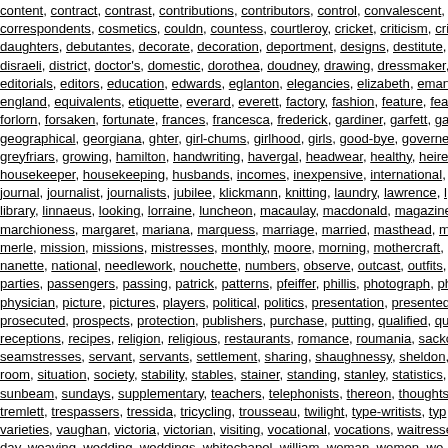content, contract, contrast, contributions, contributors, control, convalescent, correspondents, cosmetics, couldn, countess, courtleroy, cricket, criticism, cri daughters, debutantes, decorate, decoration, deportment, designs, destitute, disraeli, district, doctor's, domestic, dorothea, doudney, drawing, dressmaker, editorials, editors, education, edwards, eglanton, elegancies, elizabeth, eman england, equivalents, etiquette, everard, everett, factory, fashion, feature, fea forlorn, forsaken, fortunate, frances, francesca, frederick, gardiner, garfett, ga geographical, georgiana, ghter, girl-chums, girlhood, girls, good-bye, governe greyfriars, growing, hamilton, handwriting, havergal, headwear, healthy, heire housekeeper, housekeeping, husbands, incomes, inexpensive, international, journal, journalist, journalists, jubilee, klickmann, knitting, laundry, lawrence, l library, linnaeus, looking, lorraine, luncheon, macaulay, macdonald, magazine marchioness, margaret, mariana, marquess, marriage, married, masthead, m merle, mission, missions, mistresses, monthly, moore, morning, mothercraft, nanette, national, needlework, nouchette, numbers, observe, outcast, outfits, parties, passengers, passing, patrick, patterns, pfeiffer, phillis, photograph, ph physician, picture, pictures, players, political, politics, presentation, presented prosecuted, prospects, protection, publishers, purchase, putting, qualified, qu receptions, recipes, religion, religious, restaurants, romance, roumania, sacko seamstresses, servant, servants, settlement, sharing, shaughnessy, sheldon, room, situation, society, stability, stables, stainer, standing, stanley, statistics, sunbeam, sundays, supplementary, teachers, telephonists, thereon, thoughts tremlett, trespassers, tressida, tricycling, trousseau, twilight, type-writists, typ varieties, vaughan, victoria, victorian, visiting, vocational, vocations, waitresse day, weaving, wedding, weddings, whitechapel, william, woman, women, wo